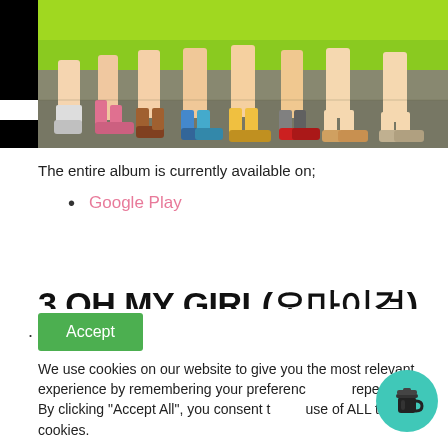[Figure (photo): Photo showing legs of multiple people wearing bright green/neon outfits, various shoes and socks, standing on a reflective floor surface.]
The entire album is currently available on;
Google Play
3.OH MY GIRL(오마이걸)
Accept
We use cookies on our website to give you the most relevant experience by remembering your preferences and repeat visits. By clicking "Accept All", you consent to the use of ALL the cookies.